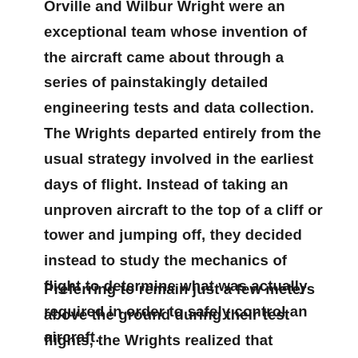Orville and Wilbur Wright were an exceptional team whose invention of the aircraft came about through a series of painstakingly detailed engineering tests and data collection. The Wrights departed entirely from the usual strategy involved in the earliest days of flight. Instead of taking an unproven aircraft to the top of a cliff or tower and jumping off, they decided instead to study the mechanics of flight to determine what was actually required in order to safely control an aircraft.
Preferring to remain just a few meters above the ground during their test flights, the Wrights realized that control was the key to successful flight